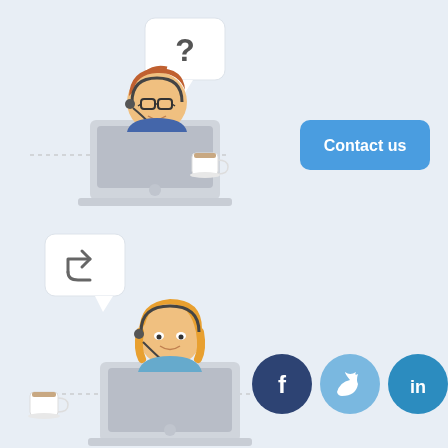[Figure (illustration): Customer support agent illustration (male with glasses, headset, laptop) with a speech bubble containing a question mark, and a coffee cup. To the right, a blue 'Contact us' button.]
[Figure (illustration): Customer support agent illustration (female with blonde hair, headset, laptop) with a speech bubble containing a share/forward arrow, and a coffee cup. To the right, three social media icons: Facebook, Twitter, LinkedIn.]